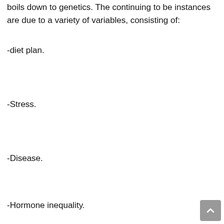boils down to genetics. The continuing to be instances are due to a variety of variables, consisting of:
-diet plan.
-Stress.
-Disease.
-Hormone inequality.